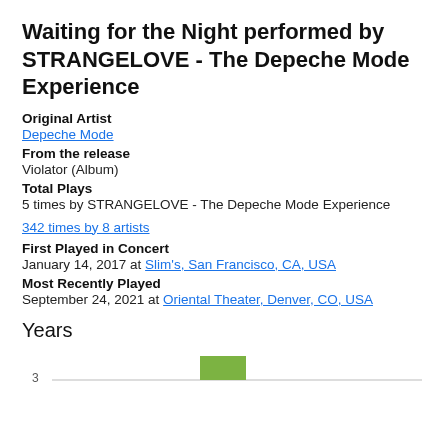Waiting for the Night performed by STRANGELOVE - The Depeche Mode Experience
Original Artist
Depeche Mode
From the release
Violator (Album)
Total Plays
5 times by STRANGELOVE - The Depeche Mode Experience
342 times by 8 artists
First Played in Concert
January 14, 2017 at Slim's, San Francisco, CA, USA
Most Recently Played
September 24, 2021 at Oriental Theater, Denver, CO, USA
Years
[Figure (bar-chart): Years]